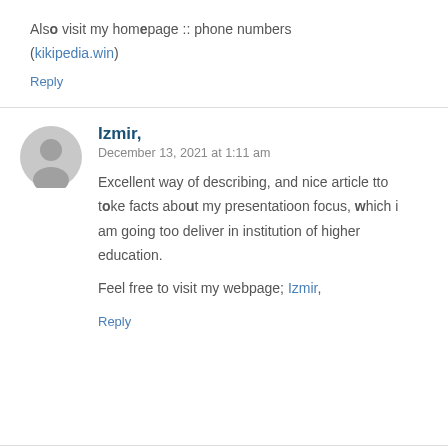Also visit my homepage :: phone numbers (kikipedia.win)
Reply
Izmir,
December 13, 2021 at 1:11 am
Excellent way of describing, and nice article tto take facts about my presentatioon focus, which i am going too deliver in institution of higher education.
Feel free to visit my webpage; Izmir,
Reply